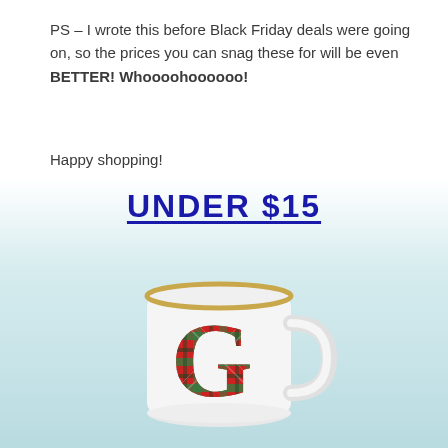PS – I wrote this before Black Friday deals were going on, so the prices you can snag these for will be even BETTER! Whoooohoooo!
Happy shopping!
UNDER $15
[Figure (photo): A white ceramic mug with a gold rim, featuring a large decorative letter G in red and green plaid/tartan pattern on the front. The mug has a standard handle on the right side.]